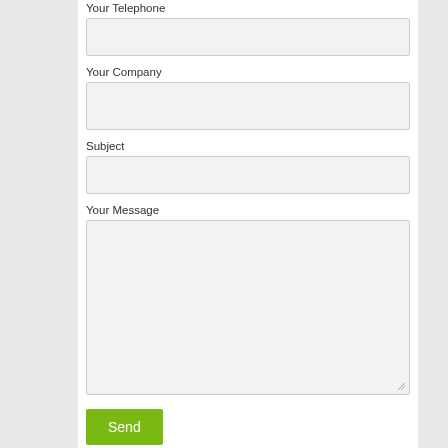Your Telephone
Your Company
Subject
Your Message
Send